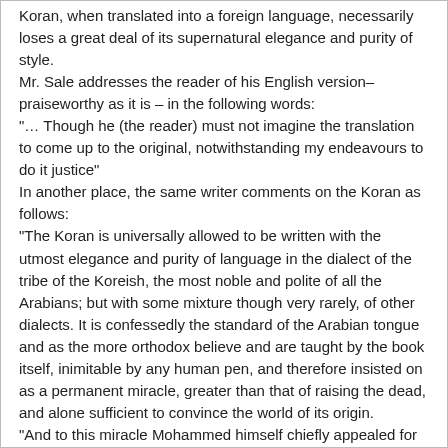Koran, when translated into a foreign language, necessarily loses a great deal of its supernatural elegance and purity of style.
Mr. Sale addresses the reader of his English version– praiseworthy as it is – in the following words:
“… Though he (the reader) must not imagine the translation to come up to the original, notwithstanding my endeavours to do it justice”
In another place, the same writer comments on the Koran as follows:
“The Koran is universally allowed to be written with the utmost elegance and purity of language in the dialect of the tribe of the Koreish, the most noble and polite of all the Arabians; but with some mixture though very rarely, of other dialects. It is confessedly the standard of the Arabian tongue and as the more orthodox believe and are taught by the book itself, inimitable by any human pen, and therefore insisted on as a permanent miracle, greater than that of raising the dead, and alone sufficient to convince the world of its origin.
“And to this miracle Mohammed himself chiefly appealed for the confirmation of his mission, publicly challenging the most eloquent men in Arabia which was at the same time stocked with thousands whose sole study and ambition it was, to excel in eloquence, to take the composition, to produce even a single chapter...